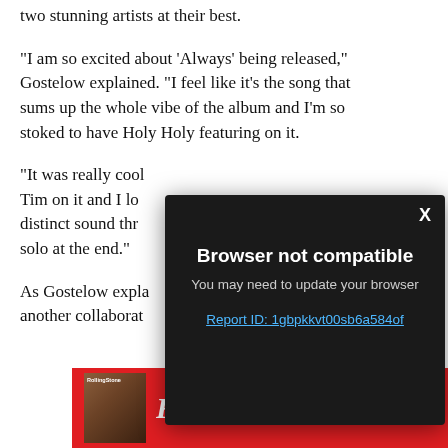two stunning artists at their best.
“I am so excited about ‘Always’ being released,” Gostelow explained. “I feel like it’s the song that sums up the whole vibe of the album and I’m so stoked to have Holy Holy featuring on it.
“It was really cool [to have] Tim on it and I lo[ve] distinct sound thr[ough the] solo at the end.”
As Gostelow expla[ined] another collaborat[ion]
[Figure (screenshot): Browser not compatible modal overlay on dark background with close X button. Text: 'Browser not compatible', 'You may need to update your browser', 'Report ID: 1gbpkkvt00sb6a584of' as a blue link.]
[Figure (infographic): Rolling Stone magazine advertisement banner with red background, magazine cover thumbnail on left, and Rolling Stone logo in white italic text.]